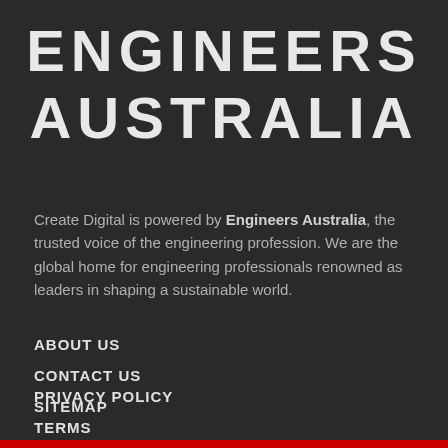ENGINEERS AUSTRALIA
Create Digital is powered by Engineers Australia, the trusted voice of the engineering profession. We are the global home for engineering professionals renowned as leaders in shaping a sustainable world.
ABOUT US
CONTACT US
SITEMAP
PRIVACY POLICY
TERMS